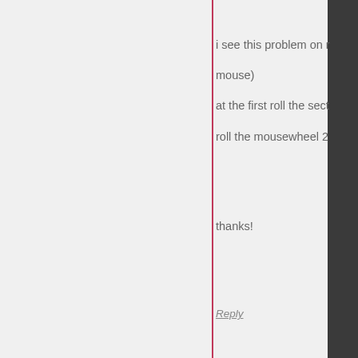i see this problem on r mouse) at the first roll the sect roll the mousewheel 2
thanks!
Reply
malihu
Posted on March
I've tested your scroll) as well a I don't have the specific with yo notch since it's
Reply